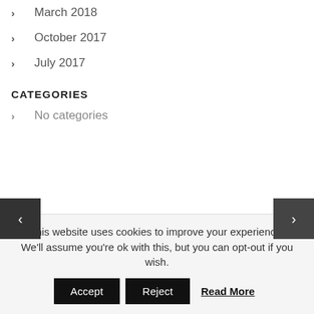March 2018
October 2017
July 2017
CATEGORIES
No categories
META
This website uses cookies to improve your experience. We'll assume you're ok with this, but you can opt-out if you wish. Accept Reject Read More